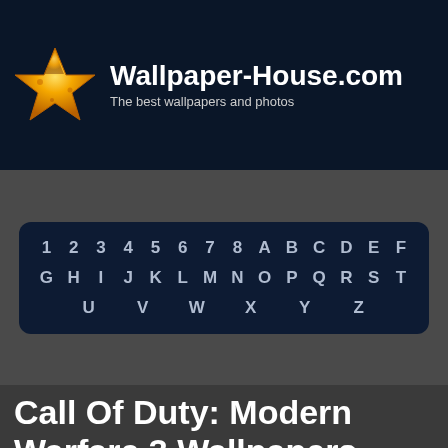Wallpaper-House.com – The best wallpapers and photos
[Figure (logo): Golden star logo for Wallpaper-House.com]
1 2 3 4 5 6 7 8 A B C D E F G H I J K L M N O P Q R S T U V W X Y Z
Call Of Duty: Modern Warfare 3 Wallpapers
Wallpapers » C » 67 Wallpapers in "Call Of Duty: Modern Warfare 3 Wallpapers" Collection